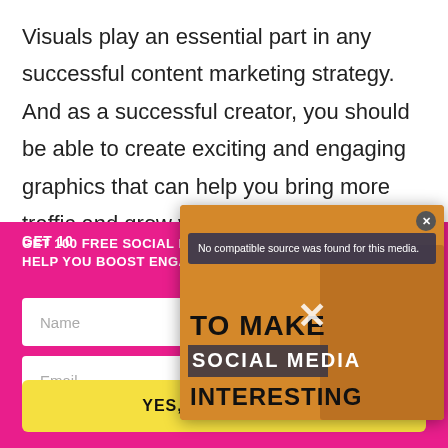Visuals play an essential part in any successful content marketing strategy. And as a successful creator, you should be able to create exciting and engaging graphics that can help you bring more traffic and grow your audience.
[Figure (screenshot): Pink banner/modal with marketing offer: 'GET 100 FREE SOCIAL MEDIA POST IDEAS TO HELP YOU BOOST ENGAGEMENT' with Name and Email input fields and a yellow 'YES, SEND IT NOW' button. Overlapping video modal showing 'No compatible source was found for this media.' error with text 'TO MAKE SOCIAL MEDIA INTERESTING' and a person image.]